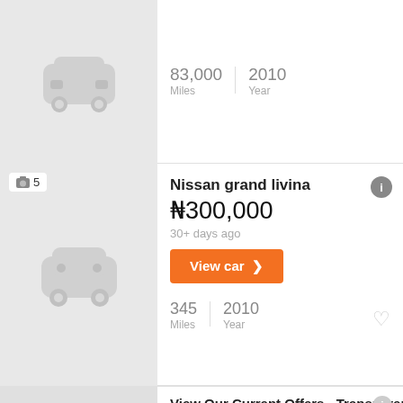[Figure (illustration): Gray car icon placeholder image (top, partial)]
83,000 Miles | 2010 Year
[Figure (illustration): Gray car icon placeholder image with photo count badge showing camera icon and 5]
Nissan grand livina
₦300,000
30+ days ago
View car ❯
345 Miles | 2010 Year
[Figure (illustration): Gray car icon placeholder image for ad listing]
Deals on New Nissan - Up Front and Honest - Great Customer Service
Ad https://jimcolemannissan.com/nissan-d...
We are Dedicated to Providing the Best Customer Service and the Best Offers! Save...
Visit Website ❯
10400-C, 10400 Auto Park Ave B, Bethesda
View Our Current Offers - Transparent